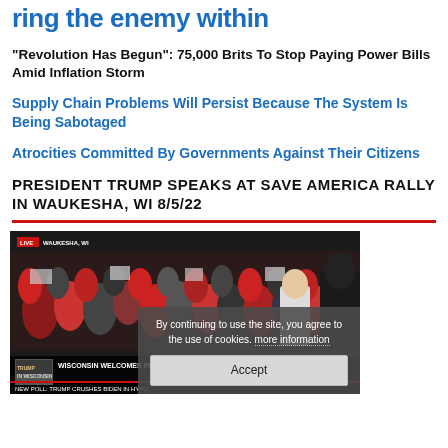...ring the enemy within
“Revolution Has Begun”: 75,000 Brits To Stop Paying Power Bills Amid Inflation Storm
Supply Chain Problems Will Persist Because The System Is Being Sabotaged
Atrocities Committed By Governments Against Their Citizens
PRESIDENT TRUMP SPEAKS AT SAVE AMERICA RALLY IN WAUKESHA, WI 8/5/22
[Figure (screenshot): Video screenshot of a Trump rally in Waukesha, WI with a cookie consent overlay that reads 'By continuing to use the site, you agree to the use of cookies. more information' and an Accept button.]